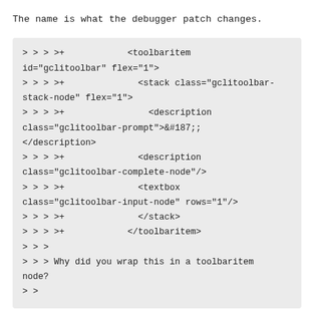The name is what the debugger patch changes.
> > > >+            <toolbaritem id="gclitoolbar" flex="1">
> > > >+              <stack class="gclitoolbar-stack-node" flex="1">
> > > >+                <description class="gclitoolbar-prompt">&#187;
</description>
> > > >+              <description class="gclitoolbar-complete-node"/>
> > > >+              <textbox class="gclitoolbar-input-node" rows="1"/>
> > > >+              </stack>
> > > >+            </toolbaritem>
> > >
> > > Why did you wrap this in a toolbaritem node?
> >